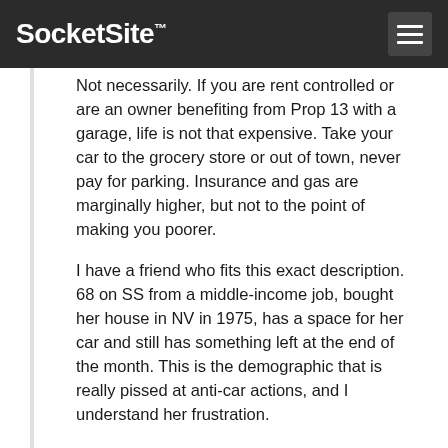SocketSite™
Not necessarily. If you are rent controlled or are an owner benefiting from Prop 13 with a garage, life is not that expensive. Take your car to the grocery store or out of town, never pay for parking. Insurance and gas are marginally higher, but not to the point of making you poorer.
I have a friend who fits this exact description. 68 on SS from a middle-income job, bought her house in NV in 1975, has a space for her car and still has something left at the end of the month. This is the demographic that is really pissed at anti-car actions, and I understand her frustration.
As a cyclist, I think these situations are an anomaly, but that we need to take them into consideration.
Posted by NoeValleyJim 8 years ago
She can take Muni. She probably won't be driving too many more years and then she will be Muni dependent. We need to set aside more space on the roadway for the more efficient means of